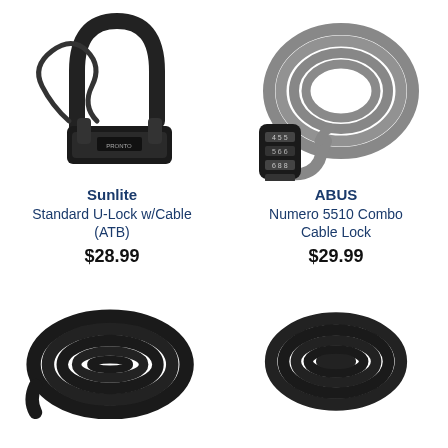[Figure (photo): Sunlite Standard U-Lock with Cable (ATB) - black U-lock with cable attachment]
Sunlite
Standard U-Lock w/Cable (ATB)
$28.99
[Figure (photo): ABUS Numero 5510 Combo Cable Lock - grey coiled cable lock with combination dial]
ABUS
Numero 5510 Combo Cable Lock
$29.99
[Figure (photo): Black coiled cable lock - large black spiral cable]
[Figure (photo): Black coiled cable lock - medium black spiral cable]